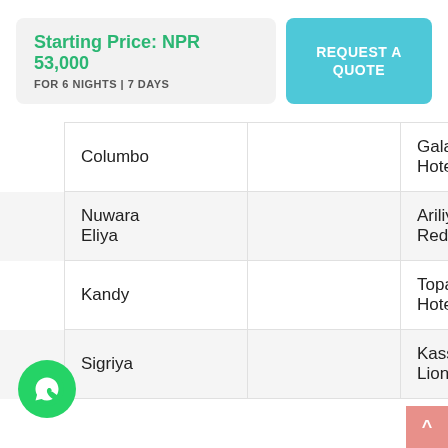Starting Price: NPR 53,000 FOR 6 NIGHTS | 7 DAYS
REQUEST A QUOTE
|  | Location |  | Hotel |  |
| --- | --- | --- | --- | --- |
|  | Columbo |  | Galadari Hotel |  |
|  | Nuwara Eliya |  | Ariliya Red |  |
|  | Kandy |  | Topaz Hotel |  |
|  | Sigriya |  | Kassapa Lions |  |